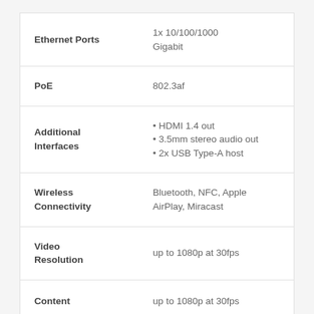| Feature | Value |
| --- | --- |
| Ethernet Ports | 1x 10/100/1000 Gigabit |
| PoE | 802.3af |
| Additional Interfaces | • HDMI 1.4 out
• 3.5mm stereo audio out
• 2x USB Type-A host |
| Wireless Connectivity | Bluetooth, NFC, Apple AirPlay, Miracast |
| Video Resolution | up to 1080p at 30fps |
| Content | up to 1080p at 30fps |